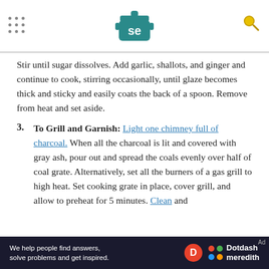Serious Eats logo header with navigation dots and search icon
Stir until sugar dissolves. Add garlic, shallots, and ginger and continue to cook, stirring occasionally, until glaze becomes thick and sticky and easily coats the back of a spoon. Remove from heat and set aside.
3. To Grill and Garnish: Light one chimney full of charcoal. When all the charcoal is lit and covered with gray ash, pour out and spread the coals evenly over half of coal grate. Alternatively, set all the burners of a gas grill to high heat. Set cooking grate in place, cover grill, and allow to preheat for 5 minutes. Clean and
[Figure (logo): Dotdash Meredith advertisement bar at bottom: dark background with text 'We help people find answers, solve problems and get inspired.' with D logo and Dotdash meredith branding]